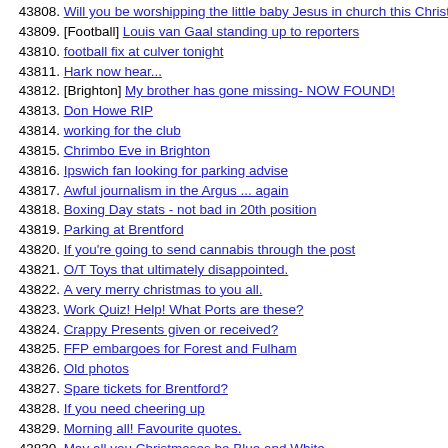43808. Will you be worshipping the little baby Jesus in church this Christmas?
43809. [Football] Louis van Gaal standing up to reporters
43810. football fix at culver tonight
43811. Hark now hear...
43812. [Brighton] My brother has gone missing- NOW FOUND!
43813. Don Howe RIP
43814. working for the club
43815. Chrimbo Eve in Brighton
43816. Ipswich fan looking for parking advise
43817. Awful journalism in the Argus ... again
43818. Boxing Day stats - not bad in 20th position
43819. Parking at Brentford
43820. If you're going to send cannabis through the post
43821. O/T Toys that ultimately disappointed.
43822. A very merry christmas to you all.
43823. Work Quiz! Help! What Ports are these?
43824. Crappy Presents given or received?
43825. FFP embargoes for Forest and Fulham
43826. Old photos
43827. Spare tickets for Brentford?
43828. If you need cheering up
43829. Morning all! Favourite quotes.
43830. May all you Christmases be Blue and White
43831. Someone at the BBC is getting sacked in the morning !
43832. A Muslim plane anyone?
43833. Father Christmas or Santa
43834. Happy Birthday Lemmy - 70 today!
43835. [Misc] Crappy cracker joke thread 2015
43836. Club Christmas Wishes